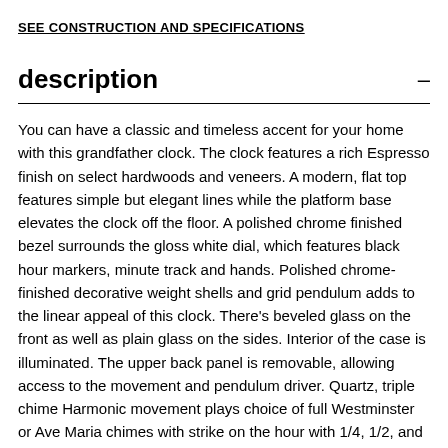SEE CONSTRUCTION AND SPECIFICATIONS
description
You can have a classic and timeless accent for your home with this grandfather clock. The clock features a rich Espresso finish on select hardwoods and veneers. A modern, flat top features simple but elegant lines while the platform base elevates the clock off the floor. A polished chrome finished bezel surrounds the gloss white dial, which features black hour markers, minute track and hands. Polished chrome-finished decorative weight shells and grid pendulum adds to the linear appeal of this clock. There's beveled glass on the front as well as plain glass on the sides. Interior of the case is illuminated. The upper back panel is removable, allowing access to the movement and pendulum driver. Quartz, triple chime Harmonic movement plays choice of full Westminster or Ave Maria chimes with strike on the hour with 1/4, 1/2, and 3/4 chimes accordingly; Westminster chime and strike on the hour only; or Bim...